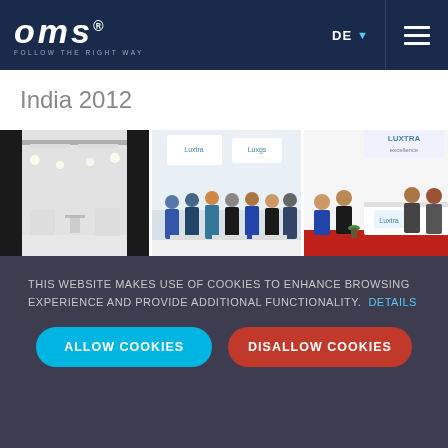OMS FOLLOW THE RIGHT WAY — DE — menu
India 2012
[Figure (photo): Three-panel photo strip showing trade exhibition booth (Light India 2012): left panel shows white exhibition hall interior with ceiling track lighting, center panel shows group of people at the Luxtra/Luxgs stand, right panel shows Luxtra booth with visitors in red-carpeted hall]
The 7th Annual Light India; India's largest lighting exhibition in
THIS WEBSITE MAKES USE OF COOKIES TO ENHANCE BROWSING EXPERIENCE AND PROVIDE ADDITIONAL FUNCTIONALITY. DETAILS
ALLOW COOKIES     DISALLOW COOKIES